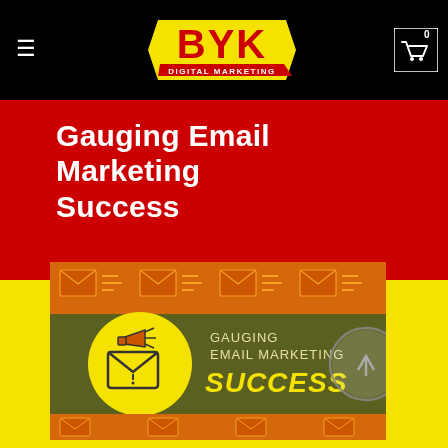[Figure (logo): BYK Digital Marketing logo in yellow and red on black background]
Gauging Email Marketing Success
[Figure (illustration): Promotional banner image for 'Gauging Email Marketing Success' with envelope, megaphone icon on dark olive background, surrounded by orange envelope pattern on yellow background]